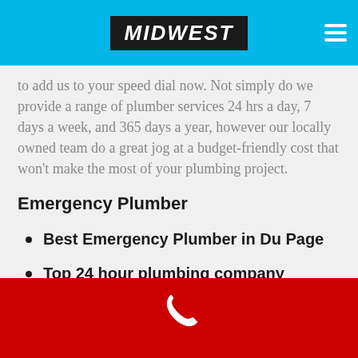MIDWEST
to add us to your speed dial now. Not simply do we provide a range of plumber services 24 hrs a day, 7 days a week, and 365 days a year, however our locally owned team do a great jog at a budget-friendly cost that won't make the most of your plumbing project.
Emergency Plumber
Best Emergency Plumber in Du Page
Top 24 hour plumbing company
Fast Urgent Du Page Plumber
Emergency Repairs